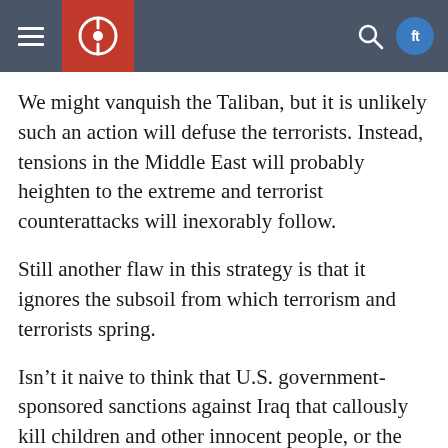Navigation header with hamburger menu, logo, search icon, and social media icons
We might vanquish the Taliban, but it is unlikely such an action will defuse the terrorists. Instead, tensions in the Middle East will probably heighten to the extreme and terrorist counterattacks will inexorably follow.
Still another flaw in this strategy is that it ignores the subsoil from which terrorism and terrorists spring.
Isn’t it naive to think that U.S. government-sponsored sanctions against Iraq that callously kill children and other innocent people, or the brutal suppression of the rights of the Palestinian people, the support for right-wing, anti-democratic Arab regimes, the arrogant projection of U.S. military power around the